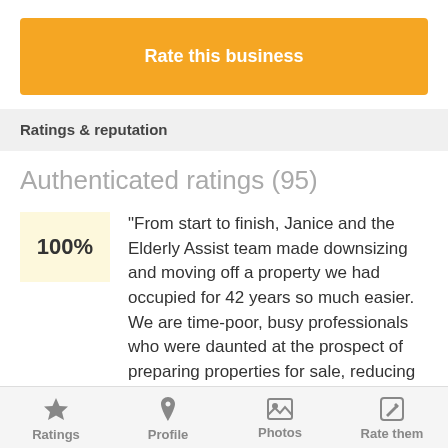Rate this business
Ratings & reputation
Authenticated ratings (95)
100%
"From start to finish, Janice and the Elderly Assist team made downsizing and moving off a property we had occupied for 42 years so much easier. We are time-poor, busy professionals who were daunted at the prospect of preparing properties for sale, reducing our belonging, packing, moving, and setting up in a new location. Elderly Assist managed the whole process and we are
Ratings  Profile  Photos  Rate them